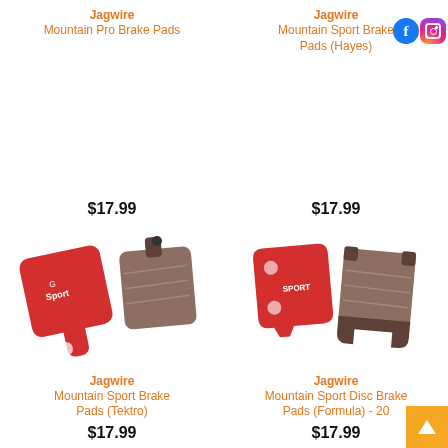Jagwire Mountain Pro Brake Pads
$17.99
Jagwire Mountain Sport Brake Pads (Hayes)
$17.99
[Figure (photo): Jagwire Mountain Sport Brake Pads (Tektro) - red backing plate and brown brake pad]
Jagwire Mountain Sport Brake Pads (Tektro)
$17.99
[Figure (photo): Jagwire Mountain Sport Disc Brake Pads (Formula) - red backing plate and brown brake pad]
Jagwire Mountain Sport Disc Brake Pads (Formula) - 20
$17.99